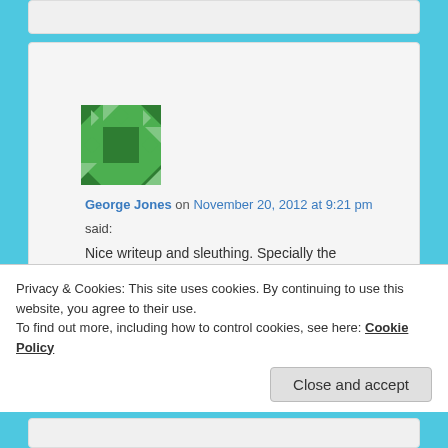[Figure (illustration): Green geometric avatar/identicon for George Jones]
George Jones on November 20, 2012 at 9:21 pm
said:
Nice writeup and sleuthing. Specially the methodology about developing a Y-STR fingerprint.
For R1b, does anyone have any updates to these 5 year old 67 Marker Y-STR frequency tables
Privacy & Cookies: This site uses cookies. By continuing to use this website, you agree to their use.
To find out more, including how to control cookies, see here: Cookie Policy
Close and accept